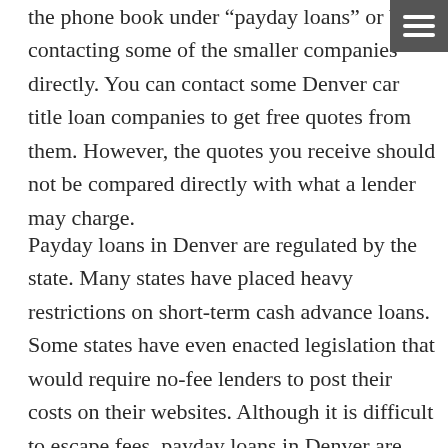the phone book under “payday loans” or by contacting some of the smaller companies directly. You can contact some Denver car title loan companies to get free quotes from them. However, the quotes you receive should not be compared directly with what a lender may charge.
Payday loans in Denver are regulated by the state. Many states have placed heavy restrictions on short-term cash advance loans. Some states have even enacted legislation that would require no-fee lenders to post their costs on their websites. Although it is difficult to escape fees, payday loans in Denver are generally much cheaper than other short-term cash advance services. This is because lenders have to charge a service charge,